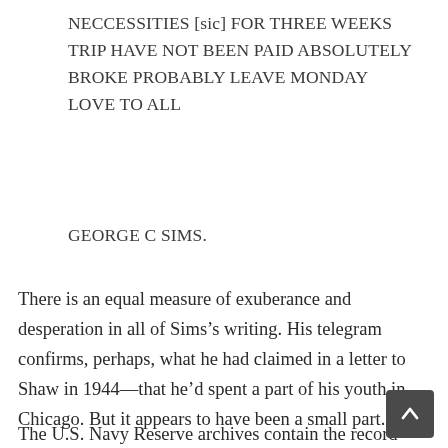NECCESSITIES [sic] FOR THREE WEEKS TRIP HAVE NOT BEEN PAID ABSOLUTELY BROKE PROBABLY LEAVE MONDAY LOVE TO ALL
GEORGE C SIMS.
There is an equal measure of exuberance and desperation in all of Sims’s writing. His telegram confirms, perhaps, what he had claimed in a letter to Shaw in 1944—that he’d spent a part of his youth in Chicago. But it appears to have been a small part.
The U.S. Navy Reserve archives contain the record